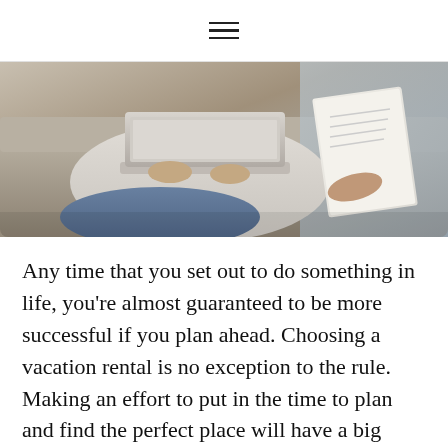≡
[Figure (photo): Person sitting on couch using a laptop and holding papers]
Any time that you set out to do something in life, you're almost guaranteed to be more successful if you plan ahead. Choosing a vacation rental is no exception to the rule. Making an effort to put in the time to plan and find the perfect place will have a big payoff. However, before booking a vacation rental (or